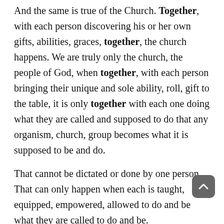And the same is true of the Church. Together, with each person discovering his or her own gifts, abilities, graces, together, the church happens. We are truly only the church, the people of God, when together, with each person bringing their unique and sole ability, roll, gift to the table, it is only together with each one doing what they are called and supposed to do that any organism, church, group becomes what it is supposed to be and do.
That cannot be dictated or done by one person. That can only happen when each is taught, equipped, empowered, allowed to do and be what they are called to do and be.
Together, the reading from Ephesians reminds us.